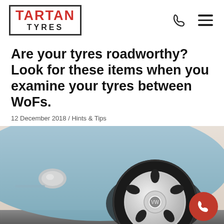[Figure (logo): Tartan Tyres logo in a bordered box with red TARTAN text and black TYRES text]
Are your tyres roadworthy? Look for these items when you examine your tyres between WoFs.
12 December 2018 / Hints & Tips
[Figure (photo): Close-up photograph of a vintage light blue Volkswagen Beetle showing the front wheel with a chrome hub cap and black tyre, taken at a low angle]